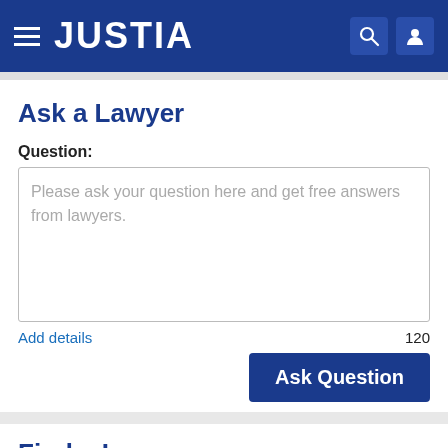JUSTIA
Ask a Lawyer
Question:
Please ask your question here and get free answers from lawyers.
Add details
120
Ask Question
Find a Lawyer
Traffic Tickets